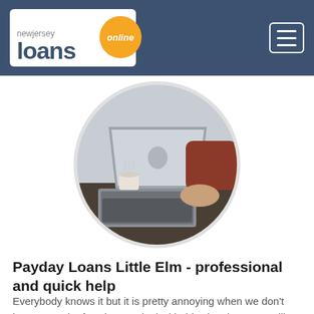newjersey loans online
[Figure (photo): Person working on a MacBook laptop on a dark wooden desk, with a coffee cup in the background, displayed in a circular crop]
Payday Loans Little Elm - professional and quick help
Everybody knows it but it is pretty annoying when we don't have enough of savings to deal with this situations. We will help you get the money you need today. Choose Payday